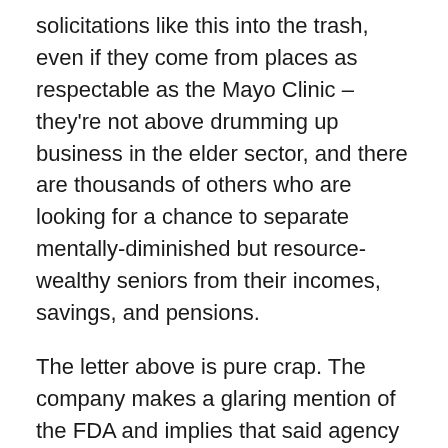solicitations like this into the trash, even if they come from places as respectable as the Mayo Clinic – they're not above drumming up business in the elder sector, and there are thousands of others who are looking for a chance to separate mentally-diminished but resource-wealthy seniors from their incomes, savings, and pensions.
The letter above is pure crap. The company makes a glaring mention of the FDA and implies that said agency has endorsed their product. This is a load of hqiz: the actual FDA letter is here, and if you read it you'll see that the agency is clearly saying that evidence for effectiveness of phosphatidylserene as a memory-enhancer is feeble at best, although the product is Generally Recognized as Safe (GRAS) based on the information provided to the FDA by the company involved, with the additional